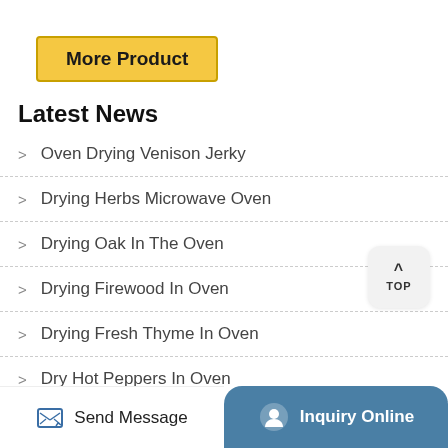More Product
Latest News
Oven Drying Venison Jerky
Drying Herbs Microwave Oven
Drying Oak In The Oven
Drying Firewood In Oven
Drying Fresh Thyme In Oven
Dry Hot Peppers In Oven
Send Message | Inquiry Online